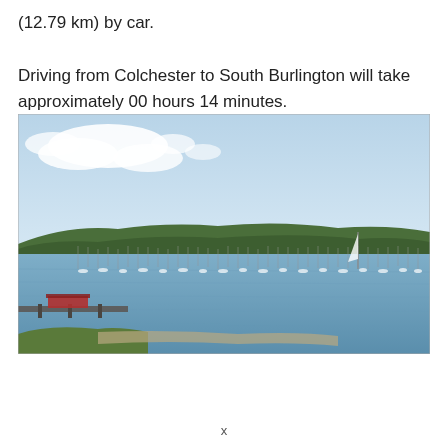(12.79 km) by car.

Driving from Colchester to South Burlington will take approximately 00 hours 14 minutes.
[Figure (photo): A wide harbor or lake scene with many sailboats moored on calm water, a tree-lined shoreline and hills in the background, under a partly cloudy blue sky. A dock with a red-roofed structure is visible in the lower left foreground.]
x